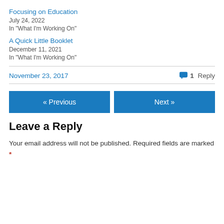Focusing on Education
July 24, 2022
In "What I'm Working On"
A Quick Little Booklet
December 11, 2021
In "What I'm Working On"
November 23, 2017
1 Reply
« Previous
Next »
Leave a Reply
Your email address will not be published. Required fields are marked *